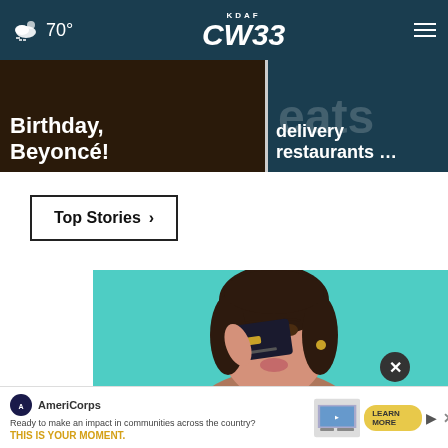70° KDAF CW33
Birthday, Beyoncé!
delivery restaurants ...
Top Stories ›
[Figure (photo): Woman holding a dark credit card over her eye, posing on a teal background]
[Figure (photo): AmeriCorps advertisement banner: 'Ready to make an impact in communities across the country? THIS IS YOUR MOMENT.' with LEARN MORE button]